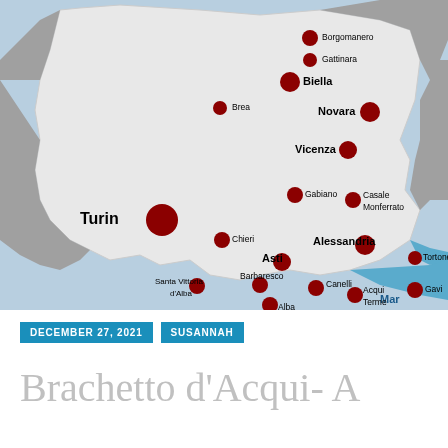[Figure (map): Map of Piedmont region in northern Italy showing wine-producing towns marked with dark red circles. Cities labeled include Borgomanero, Gattinara, Biella, Brea, Novara, Vicenza, Gabiano, Casale Monferrato, Turin, Chieri, Alessandria, Tortone, Asti, Santa Vittoria d'Alba, Barbaresco, Canelli, Acqui Terme, Gavi, Alba, Barolo, Cuneo. A blue body of water (Mar) is visible at the bottom right.]
DECEMBER 27, 2021 | SUSANNAH
Brachetto d'Acqui- A